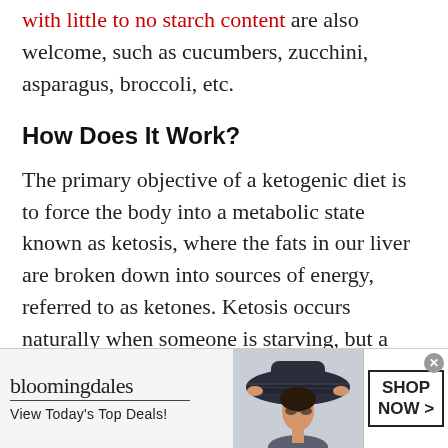with little to no starch content are also welcome, such as cucumbers, zucchini, asparagus, broccoli, etc.
How Does It Work?
The primary objective of a ketogenic diet is to force the body into a metabolic state known as ketosis, where the fats in our liver are broken down into sources of energy, referred to as ketones. Ketosis occurs naturally when someone is starving, but a ketogenic diet cuts the starvation out of the equation by providing the body with all the calories that it needs
[Figure (infographic): Bloomingdale's advertisement banner with logo, tagline 'View Today's Top Deals!', woman wearing wide-brim hat, and 'SHOP NOW >' button]